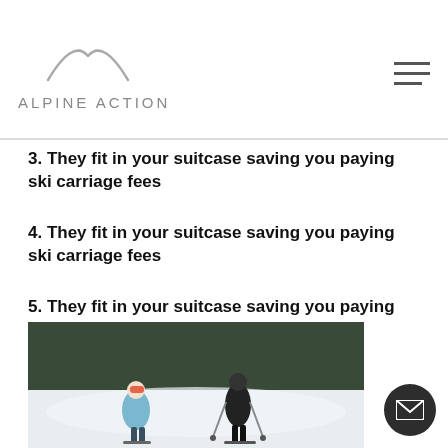ALPINE ACTION
3. They fit in your suitcase saving you paying ski carriage fees
4. They fit in your suitcase saving you paying ski carriage fees
5. They fit in your suitcase saving you paying ski carriage fees
[Figure (photo): Two skiers on a snowy slope with pine trees in the background. One person wearing a light blue jacket and goggles, another in a black jacket holding ski poles.]